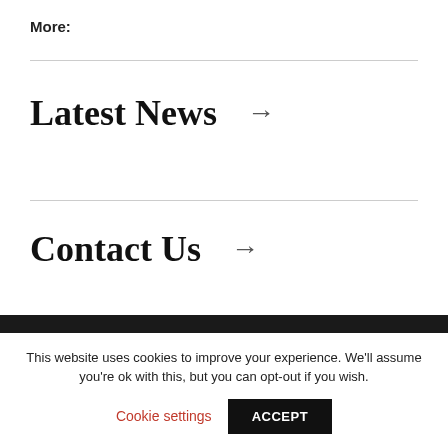More:
Latest News →
Contact Us →
This website uses cookies to improve your experience. We'll assume you're ok with this, but you can opt-out if you wish.
Cookie settings
ACCEPT